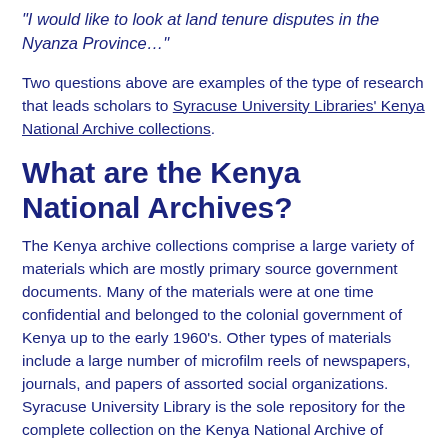“I would like to look at land tenure disputes in the Nyanza Province…”
Two questions above are examples of the type of research that leads scholars to Syracuse University Libraries’ Kenya National Archive collections.
What are the Kenya National Archives?
The Kenya archive collections comprise a large variety of materials which are mostly primary source government documents. Many of the materials were at one time confidential and belonged to the colonial government of Kenya up to the early 1960’s.  Other types of materials include a large number of microfilm reels of newspapers, journals, and papers of assorted social organizations. Syracuse University Library is the sole repository for the complete collection on the Kenya National Archive of